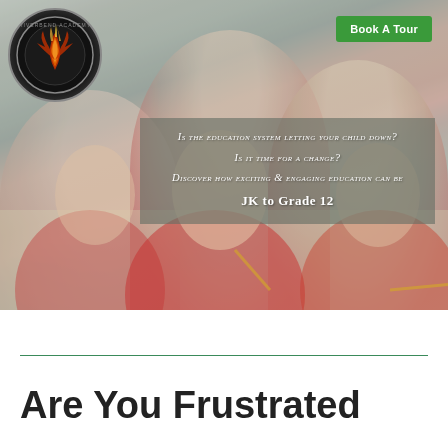[Figure (photo): Hero banner showing school children in red shirts writing at desks, with a phoenix school logo in the top-left and a green 'Book A Tour' button in the top-right. A semi-transparent overlay in the center-right shows promotional text about the school.]
Is the education system letting your child down?
Is it time for a change?
Discover how exciting & engaging education can be
JK to Grade 12
Are You Frustrated